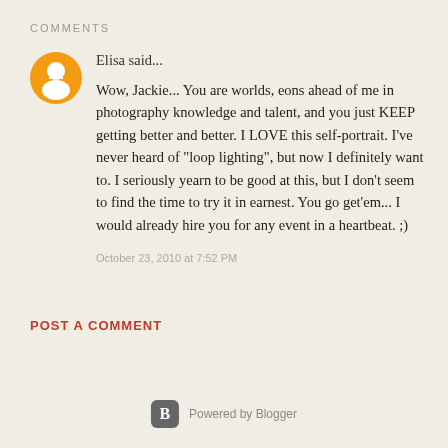COMMENTS
Elisa said...
Wow, Jackie... You are worlds, eons ahead of me in photography knowledge and talent, and you just KEEP getting better and better. I LOVE this self-portrait. I've never heard of "loop lighting", but now I definitely want to. I seriously yearn to be good at this, but I don't seem to find the time to try it in earnest. You go get'em... I would already hire you for any event in a heartbeat. ;)
October 23, 2010 at 7:52 PM
POST A COMMENT
[Figure (logo): Powered by Blogger logo with orange B icon and text]